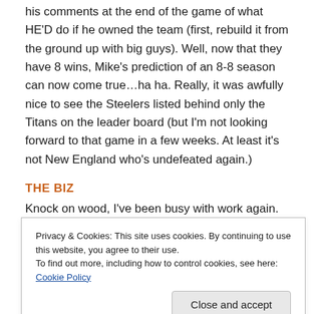his comments at the end of the game of what HE'D do if he owned the team (first, rebuild it from the ground up with big guys). Well, now that they have 8 wins, Mike's prediction of an 8-8 season can now come true…ha ha. Really, it was awfully nice to see the Steelers listed behind only the Titans on the leader board (but I'm not looking forward to that game in a few weeks. At least it's not New England who's undefeated again.)
THE BIZ
Knock on wood, I've been busy with work again. After a very slow late summer and early fall, things are booming
Privacy & Cookies: This site uses cookies. By continuing to use this website, you agree to their use.
To find out more, including how to control cookies, see here: Cookie Policy
before (I scribbled down something about actuarial